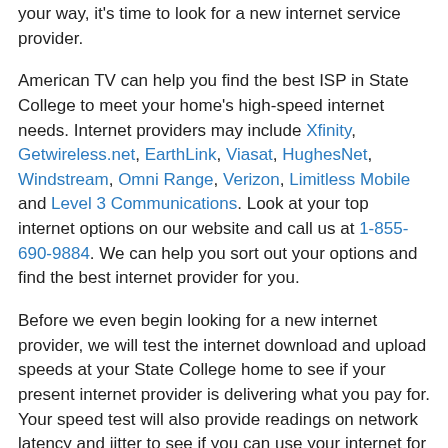your way, it's time to look for a new internet service provider.
American TV can help you find the best ISP in State College to meet your home's high-speed internet needs. Internet providers may include Xfinity, Getwireless.net, EarthLink, Viasat, HughesNet, Windstream, Omni Range, Verizon, Limitless Mobile and Level 3 Communications. Look at your top internet options on our website and call us at 1-855-690-9884. We can help you sort out your options and find the best internet provider for you.
Before we even begin looking for a new internet provider, we will test the internet download and upload speeds at your State College home to see if your present internet provider is delivering what you pay for. Your speed test will also provide readings on network latency and jitter to see if you can use your internet for gaming, such as multi-